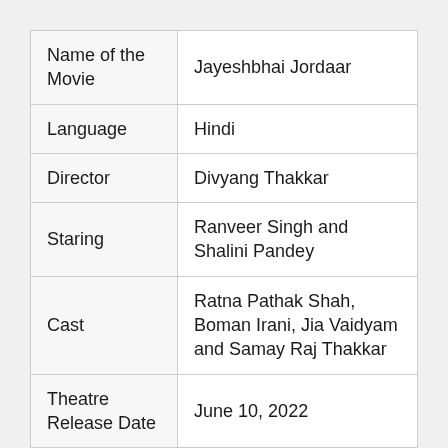| Name of the Movie | Jayeshbhai Jordaar |
| Language | Hindi |
| Director | Divyang Thakkar |
| Staring | Ranveer Singh and Shalini Pandey |
| Cast | Ratna Pathak Shah, Boman Irani, Jia Vaidyam and Samay Raj Thakkar |
| Theatre Release Date | June 10, 2022 |
| ... | ... |